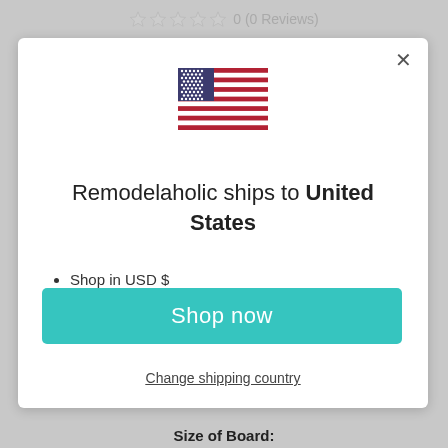0 (0 Reviews)
[Figure (illustration): US flag icon]
Remodelaholic ships to United States
Shop in USD $
Get shipping options for United States
Shop now
Change shipping country
Size of Board: